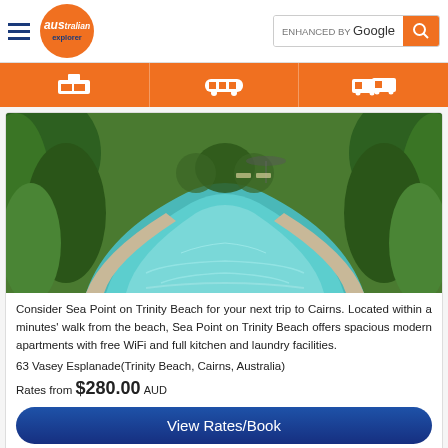Australian Explorer — ENHANCED BY Google
[Figure (photo): Tropical swimming pool at Sea Point on Trinity Beach resort, surrounded by lush green tropical vegetation, with calm turquoise water extending into the distance and pool chairs visible in background]
Consider Sea Point on Trinity Beach for your next trip to Cairns. Located within a minutes' walk from the beach, Sea Point on Trinity Beach offers spacious modern apartments with free WiFi and full kitchen and laundry facilities.
63 Vasey Esplanade(Trinity Beach, Cairns, Australia)
Rates from $280.00 AUD
View Rates/Book
Deja Vu Palm Cove